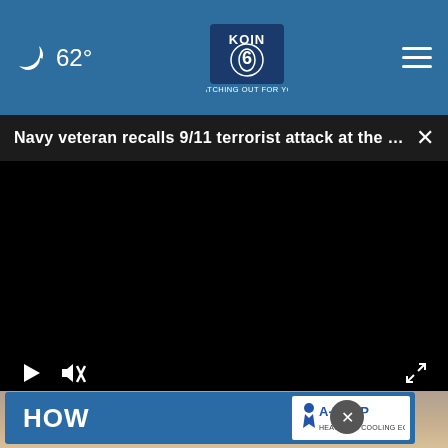62° KOIN 6 CBS WATCHING OUT FOR YOU
Navy veteran recalls 9/11 terrorist attack at the P...
[Figure (screenshot): Black video player area with play and mute controls at bottom. Shows a partially visible photo of someone's feet/legs below the player. An advertisement overlay shows 'HOW' text on a blue background with A-TEMP logo on the right.]